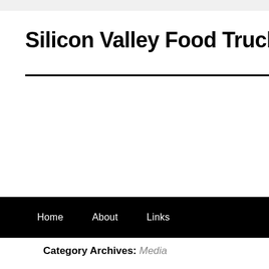Silicon Valley Food Trucks
Home   About   Links
Category Archives: Media